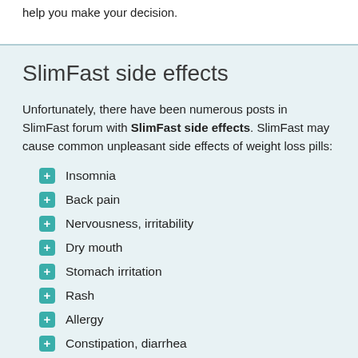help you make your decision.
SlimFast side effects
Unfortunately, there have been numerous posts in SlimFast forum with SlimFast side effects. SlimFast may cause common unpleasant side effects of weight loss pills:
Insomnia
Back pain
Nervousness, irritability
Dry mouth
Stomach irritation
Rash
Allergy
Constipation, diarrhea
However, in addition to the common side effects, users also complain about severe and sometimes even life-threatening SlimFast side effects: